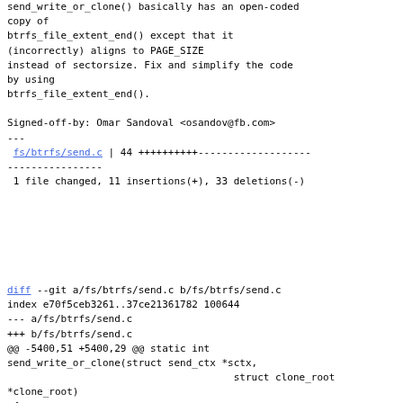send_write_or_clone() basically has an open-coded copy of
btrfs_file_extent_end() except that it
(incorrectly) aligns to PAGE_SIZE
instead of sectorsize. Fix and simplify the code by using
btrfs_file_extent_end().

Signed-off-by: Omar Sandoval <osandov@fb.com>
---
 fs/btrfs/send.c | 44 ++++++++++------------------------
 1 file changed, 11 insertions(+), 33 deletions(-)
diff --git a/fs/btrfs/send.c b/fs/btrfs/send.c
index e70f5ceb3261..37ce21361782 100644
--- a/fs/btrfs/send.c
+++ b/fs/btrfs/send.c
@@ -5400,51 +5400,29 @@ static int send_write_or_clone(struct send_ctx *sctx,
                                              struct clone_root *clone_root)
 {
         int ret = 0;
-        struct btrfs_file_extent_item *ei;
         u64 offset = key->offset;
-        u64 len;
-        u8 type;
+        u64 end;